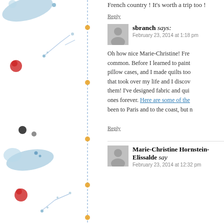French country ! It's worth a trip too !
Reply
sbranch says:
February 23, 2014 at 1:18 pm
Oh how nice Marie-Christine! Fre... common. Before I learned to paint... pillow cases, and I made quilts too... that took over my life and I discov... them! I've designed fabric and qui... ones forever. Here are some of the... been to Paris and to the coast, but n...
Reply
Marie-Christine Hornstein-Elissalde says:
February 23, 2014 at 12:32 pm